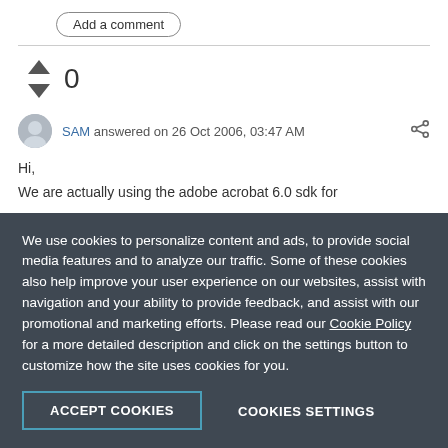Add a comment
0
SAM answered on 26 Oct 2006, 03:47 AM
Hi,
We are actually using the adobe acrobat 6.0 sdk for
We use cookies to personalize content and ads, to provide social media features and to analyze our traffic. Some of these cookies also help improve your user experience on our websites, assist with navigation and your ability to provide feedback, and assist with our promotional and marketing efforts. Please read our Cookie Policy for a more detailed description and click on the settings button to customize how the site uses cookies for you.
ACCEPT COOKIES
COOKIES SETTINGS